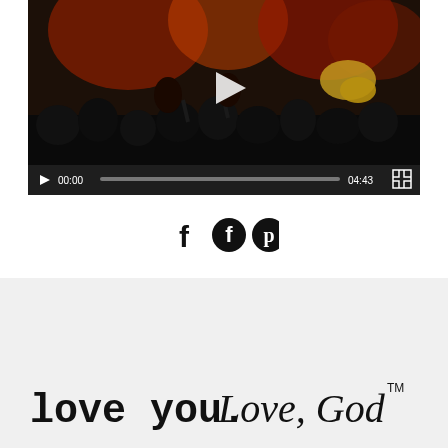[Figure (screenshot): Video player showing a live concert/worship scene with a crowd and band on stage. Controls show play button, time 00:00, progress bar, duration 04:43, and fullscreen button.]
[Figure (other): Three social media icons: Facebook (f), Facebook circle logo, and Pinterest (P) icon, displayed horizontally centered.]
[Figure (logo): Footer logo reading 'love you. Love, God' with TM mark. 'love you.' in monospace bold, 'Love, God' in cursive italic script.]